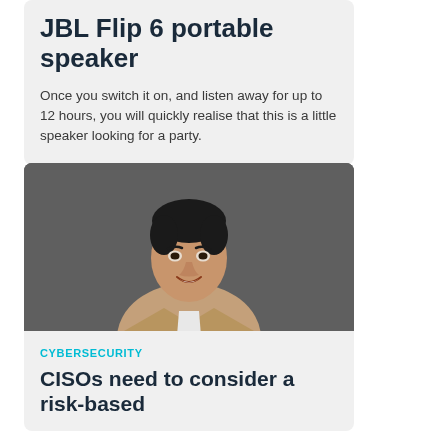JBL Flip 6 portable speaker
Once you switch it on, and listen away for up to 12 hours, you will quickly realise that this is a little speaker looking for a party.
[Figure (photo): Portrait photo of a man in a tan blazer and white shirt, smiling, standing against a dark grey background]
CYBERSECURITY
CISOs need to consider a risk-based